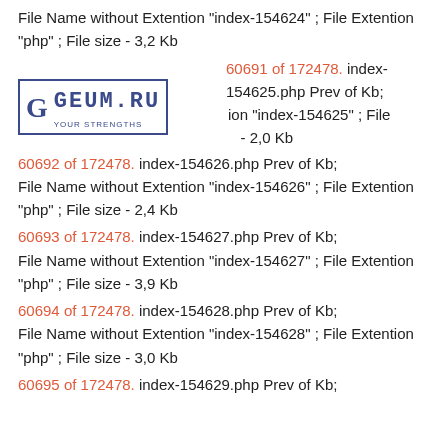File Name without Extention "index-154624" ; File Extention "php" ; File size - 3,2 Kb
60691 of 172478. index-154625.php Prev of Kb; File Name without Extention "index-154625" ; File - 2,0 Kb
60692 of 172478. index-154626.php Prev of Kb; File Name without Extention "index-154626" ; File Extention "php" ; File size - 2,4 Kb
60693 of 172478. index-154627.php Prev of Kb; File Name without Extention "index-154627" ; File Extention "php" ; File size - 3,9 Kb
60694 of 172478. index-154628.php Prev of Kb; File Name without Extention "index-154628" ; File Extention "php" ; File size - 3,0 Kb
60695 of 172478. index-154629.php Prev of Kb;